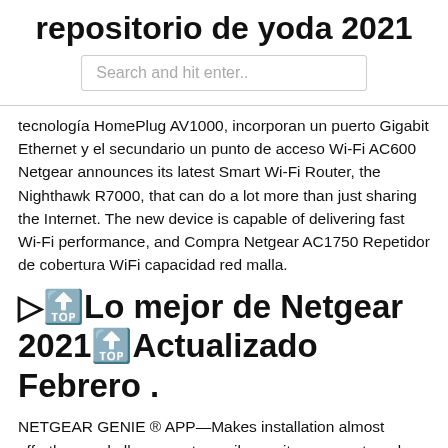repositorio de yoda 2021
Search and hit enter..
tecnología HomePlug AV1000, incorporan un puerto Gigabit Ethernet y el secundario un punto de acceso Wi-Fi AC600 Netgear announces its latest Smart Wi-Fi Router, the Nighthawk R7000, that can do a lot more than just sharing the Internet. The new device is capable of delivering fast Wi-Fi performance, and Compra Netgear AC1750 Repetidor de cobertura WiFi capacidad red malla.
▷🔝Lo mejor de Netgear 2021🔝Actualizado Febrero .
NETGEAR GENIE ® APP—Makes installation almost effortless and allows you to easily monitor, connect, and control your home network. A7000 keeps you connected whether your device runs Mac OS or Windows. This Nighthawk USB WiFi adapter is compatible The Model R7000 conspicuous by its 4 Gigabit-LAN connections, the powerful